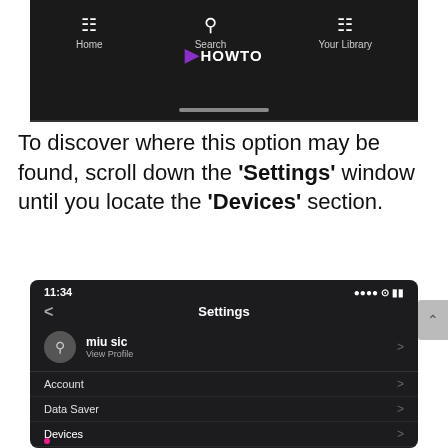[Figure (screenshot): Top portion of a Spotify app screenshot showing the bottom navigation bar with Home, Search (with HOWTO logo overlay), and Your Library icons on a dark background.]
To discover where this option may be found, scroll down the 'Settings' window until you locate the 'Devices' section.
[Figure (screenshot): Spotify app Settings screen showing status bar with time 11:34, Settings header with back arrow, user profile 'miu sic' with View Profile, and menu items: Account, Data Saver, Devices (with pink dot indicator) each with chevrons.]